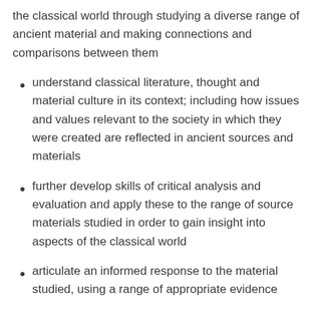the classical world through studying a diverse range of ancient material and making connections and comparisons between them
understand classical literature, thought and material culture in its context; including how issues and values relevant to the society in which they were created are reflected in ancient sources and materials
further develop skills of critical analysis and evaluation and apply these to the range of source materials studied in order to gain insight into aspects of the classical world
articulate an informed response to the material studied, using a range of appropriate evidence